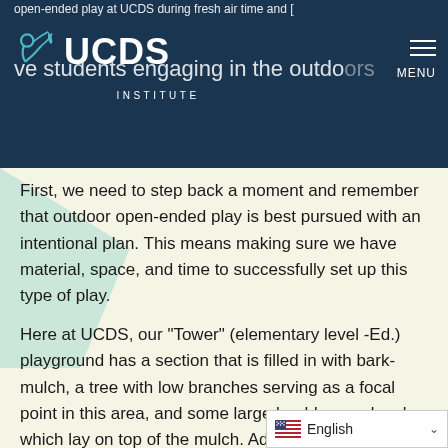open-ended play at UCDS during fresh air time and [observe students engaging in the outdoors]
[Figure (logo): UCDS Institute logo — stylized person/plant icon in white on dark navy background, with text UCDS INSTITUTE]
First, we need to step back a moment and remember that outdoor open-ended play is best pursued with an intentional plan. This means making sure we have material, space, and time to successfully set up this type of play.
Here at UCDS, our “Tower” (elementary level -Ed.) playground has a section that is filled in with bark-mulch, a tree with low branches serving as a focal point in this area, and some large boulders and rocks which lay on top of the mulch. Adjacent is a shed filled with all types of materials, there are ropes, wooden planks, pulleys, wheelbarrows, and ma[ny more items].
English